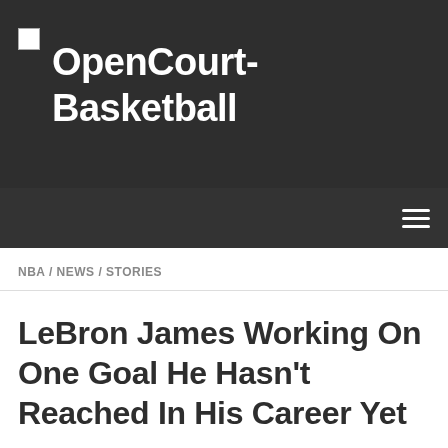OpenCourt-Basketball
NBA / NEWS / STORIES
LeBron James Working On One Goal He Hasn’t Reached In His Career Yet